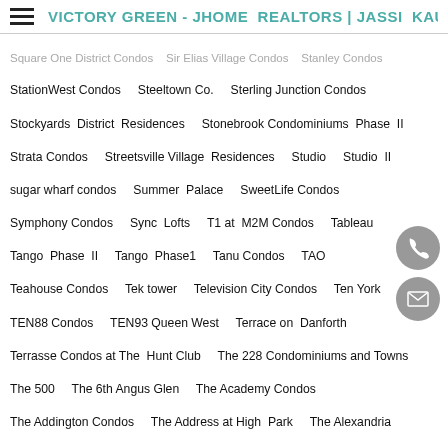VICTORY GREEN - JHOME REALTORS | JASSI KAU
Square One District Condos   Sir Elias Village Condos   Stanley Condos
StationWest Condos   Steeltown Co.   Sterling Junction Condos
Stockyards District Residences   Stonebrook Condominiums Phase II
Strata Condos   Streetsville Village Residences   Studio   Studio II
sugar wharf condos   Summer Palace   SweetLife Condos
Symphony Condos   Sync Lofts   T1 at M2M Condos   Tableau
Tango Phase II   Tango Phase1   Tanu Condos   TAO
Teahouse Condos   Tek tower   Television City Condos   Ten York
TEN88 Condos   TEN93 Queen West   Terrace on Danforth
Terrasse Condos at The Hunt Club   The 228 Condominiums and Towns
The 500   The 6th Angus Glen   The Academy Condos
The Addington Condos   The Address at High Park   The Alexandria
The Ambrose Condos   The Avanti   The Avenue   The Balmoral Condo
The Bayview Terraced Condominium Residence   The Benvenuto
The Berczy   The Berwick   The Beverly Hills   The Bond
The Borough Condos - Tower B   The Brant Park
The Bread Company Condos   The Bread Company Condos   The Britt
The Bronte   The Buckingham   The Butler Condos
The Capitol Residences   The Cardiff Condos
The Cardiff Condos on Eglinton   The Carlaw   The Carnaby Lofts
The Charles Condos   The Charlotte   The Chelsea   The Clairington
The Code Condos   The College Condominium at Spadina   The Conn...
The Courtyards of Upper Forest Hill   The Crest at Crosstown...